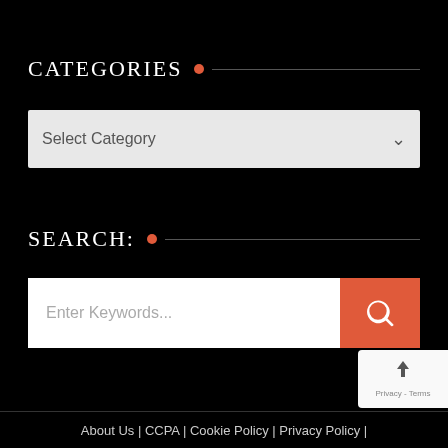CATEGORIES
Select Category
SEARCH:
Enter Keywords...
About Us | CCPA | Cookie Policy | Privacy Policy |